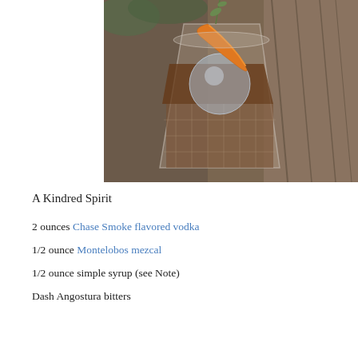[Figure (photo): A cocktail glass filled with dark amber liquid and a large ice sphere, garnished with an orange peel twist, sitting on a weathered wooden surface with greenery in the background.]
A Kindred Spirit
2 ounces Chase Smoke flavored vodka
1/2 ounce Montelobos mezcal
1/2 ounce simple syrup (see Note)
Dash Angostura bitters